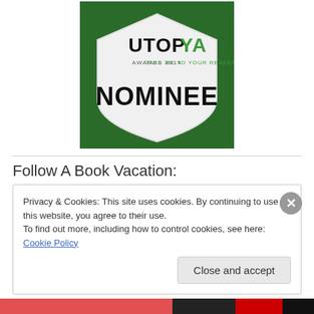[Figure (logo): UtopYA Awards 2014 'Take Me To Your Reader' Nominee badge — white shield shape on green textured background with 'UtopYA' text and 'NOMINEE' in large bold black letters]
Follow A Book Vacation:
Privacy & Cookies: This site uses cookies. By continuing to use this website, you agree to their use.
To find out more, including how to control cookies, see here: Cookie Policy
Close and accept